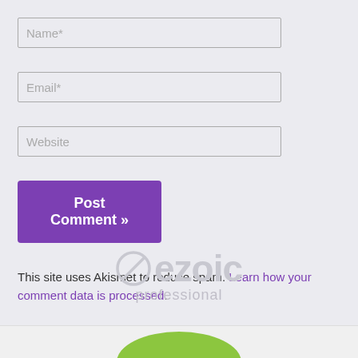Name*
Email*
Website
Post Comment »
This site uses Akismet to reduce spam. Learn how your comment data is processed.
[Figure (logo): Ezoic professional logo with circular slash icon and stylized text]
[Figure (illustration): Green arc/blob shape at the bottom of the page footer area]